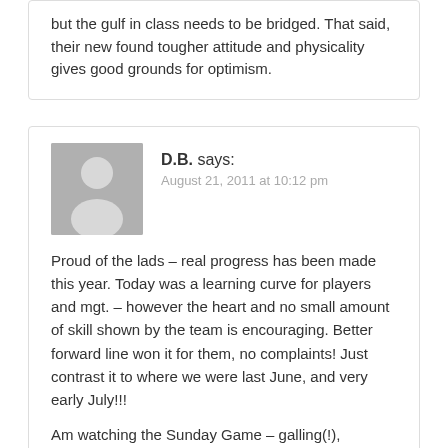but the gulf in class needs to be bridged. That said, their new found tougher attitude and physicality gives good grounds for optimism.
D.B. says:
August 21, 2011 at 10:12 pm
Proud of the lads – real progress has been made this year. Today was a learning curve for players and mgt. – however the heart and no small amount of skill shown by the team is encouraging. Better forward line won it for them, no complaints! Just contrast it to where we were last June, and very early July!!!
Am watching the Sunday Game – galling(!), especially from the Mayo man on the sofa. No emphasis on our positive play or Cillian's goal – instead over-blowing of a few manly tackles by A.O'S & Vaughan, and to crown it all, talking about protecting some of the Kerry golden boys! No mention of Kerry's general time wasting, unnecessary bringing on of